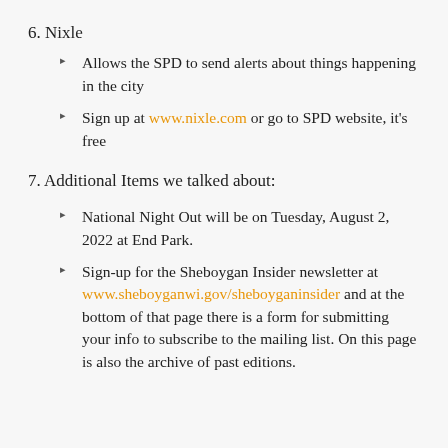6. Nixle
Allows the SPD to send alerts about things happening in the city
Sign up at www.nixle.com or go to SPD website, it's free
7. Additional Items we talked about:
National Night Out will be on Tuesday, August 2, 2022 at End Park.
Sign-up for the Sheboygan Insider newsletter at www.sheboyganwi.gov/sheboyganinsider and at the bottom of that page there is a form for submitting your info to subscribe to the mailing list. On this page is also the archive of past editions.